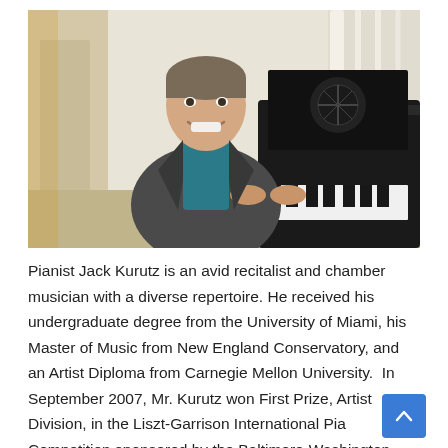[Figure (photo): Pianist Jack Kurutz sitting at a grand piano, smiling at the camera, wearing a dark blazer and teal shirt. The setting appears to be a home interior with white staircase railings visible in the background.]
Pianist Jack Kurutz is an avid recitalist and chamber musician with a diverse repertoire. He received his undergraduate degree from the University of Miami, his Master of Music from New England Conservatory, and an Artist Diploma from Carnegie Mellon University.  In September 2007, Mr. Kurutz won First Prize, Artist Division, in the Liszt-Garrison International Piano Competition sponsored by the Baltimore-Washington Chapter